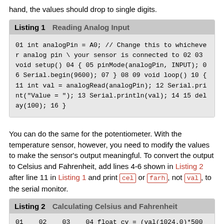hand, the values should drop to single digits.
Listing 1   Reading Analog Input
[Figure (screenshot): Code listing showing Arduino analog input reading code in monospace font on grey background]
You can do the same for the potentiometer. With the temperature sensor, however, you need to modify the values to make the sensor's output meaningful. To convert the output to Celsius and Fahrenheit, add lines 4-6 shown in Listing 2 after line 11 in Listing 1 and print cel or farh, not val, to the serial monitor.
Listing 2   Calculating Celsius and Fahrenheit
[Figure (screenshot): Partial code listing for Celsius and Fahrenheit calculation, showing beginning of line with float variables]